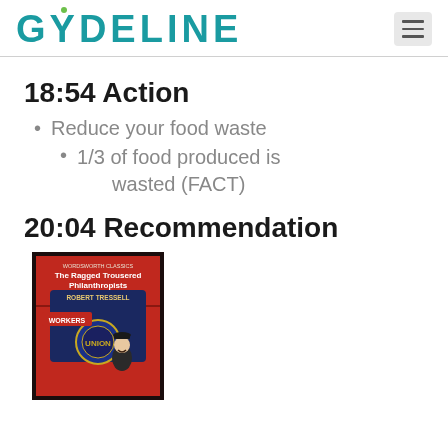GYDELINE
18:54 Action
Reduce your food waste
1/3 of food produced is wasted (FACT)
20:04 Recommendation
[Figure (photo): Book cover of The Ragged Trousered Philanthropists by Robert Tressell, Wordsworth Classics edition, showing a red and blue illustration with a man in a bowler hat]